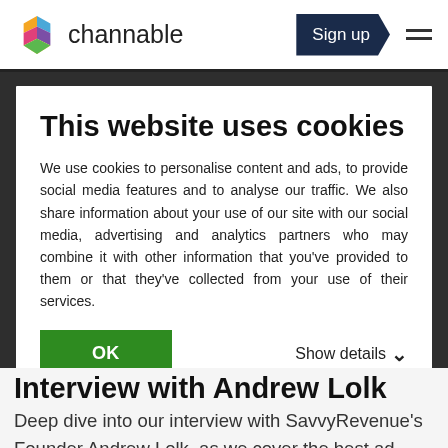channable | Sign up
This website uses cookies
We use cookies to personalise content and ads, to provide social media features and to analyse our traffic. We also share information about your use of our site with our social media, advertising and analytics partners who may combine it with other information that you've provided to them or that they've collected from your use of their services.
OK   Show details
Interview with Andrew Lolk
Deep dive into our interview with SavvyRevenue's Founder Andrew Lolk, as we cover the best ad strategies for eCommerce businesses and how the agency found its niche to help digital native companies gr...